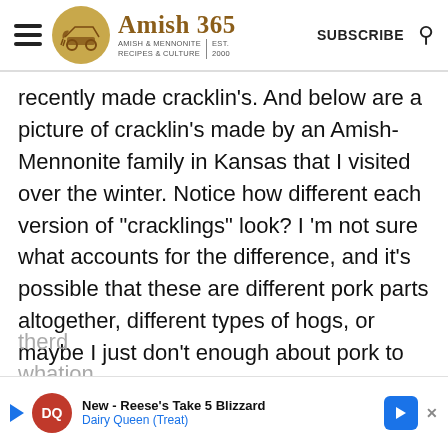Amish 365 — AMISH & MENNONITE RECIPES & CULTURE | EST. 2000 | SUBSCRIBE
recently made cracklin's.  And below are a picture of cracklin's made by an Amish-Mennonite family in Kansas that I visited over the winter. Notice how different each version of "cracklings" look?  I 'm not sure what accounts for the difference, and it's possible that these are different pork parts altogether, different types of hogs, or maybe I just don't enough about pork to write about it:)   Any pork people out there
[Figure (other): Advertisement banner: Dairy Queen — New - Reese's Take 5 Blizzard, Dairy Queen (Treat)]